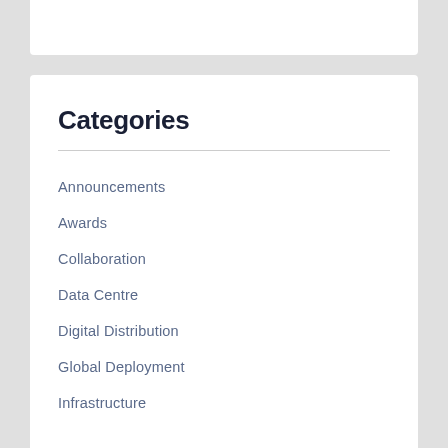Categories
Announcements
Awards
Collaboration
Data Centre
Digital Distribution
Global Deployment
Infrastructure